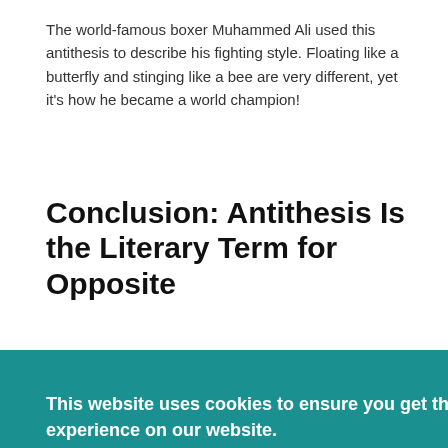The world-famous boxer Muhammed Ali used this antithesis to describe his fighting style. Floating like a butterfly and stinging like a bee are very different, yet it’s how he became a world champion!
Conclusion: Antithesis Is the Literary Term for Opposite
In short, antithesis is the idea of contrasting two
evice
[Figure (screenshot): Cookie consent banner overlay with teal background. Contains bold white text: 'This website uses cookies to ensure you get the best experience on our website.' followed by an underlined 'Cookie Policy' link, and an orange 'Got it!' button below.]
[Figure (photo): Bottom strip showing partial text 'YOUR WRITING TO THE NEXT LEVEL:' in white on a dark teal background.]